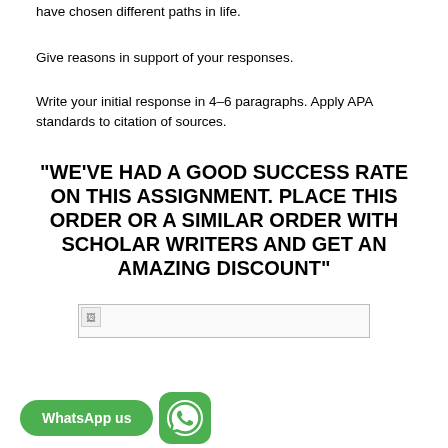have chosen different paths in life.
Give reasons in support of your responses.
Write your initial response in 4–6 paragraphs. Apply APA standards to citation of sources.
"WE'VE HAD A GOOD SUCCESS RATE ON THIS ASSIGNMENT. PLACE THIS ORDER OR A SIMILAR ORDER WITH SCHOLAR WRITERS AND GET AN AMAZING DISCOUNT"
[Figure (photo): Broken image placeholder]
[Figure (logo): WhatsApp button and icon]